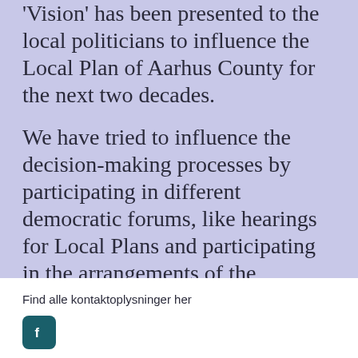'Vision' has been presented to the local politicians to influence the Local Plan of Aarhus County for the next two decades.
We have tried to influence the decision-making processes by participating in different democratic forums, like hearings for Local Plans and participating in the arrangements of the "Association Against the Highway".
Find alle kontaktoplysninger her
[Figure (logo): Facebook social media icon button - white 'f' on dark teal/green rounded square background]